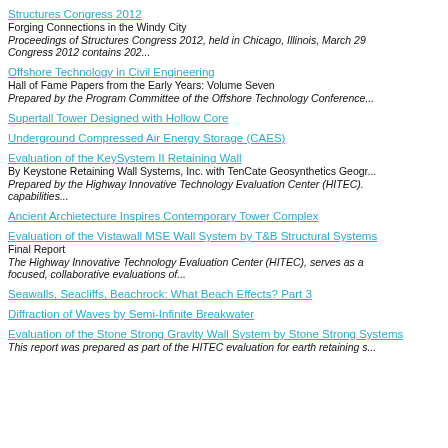Structures Congress 2012
Forging Connections in the Windy City
Proceedings of Structures Congress 2012, held in Chicago, Illinois, March 29... Congress 2012 contains 202...
Offshore Technology in Civil Engineering
Hall of Fame Papers from the Early Years: Volume Seven
Prepared by the Program Committee of the Offshore Technology Conference...
Supertall Tower Designed with Hollow Core
Underground Compressed Air Energy Storage (CAES)
Evaluation of the KeySystem II Retaining Wall
By Keystone Retaining Wall Systems, Inc. with TenCate Geosynthetics Geog...
Prepared by the Highway Innovative Technology Evaluation Center (HITEC). capabilities...
Ancient Archietecture Inspires Contemporary Tower Complex
Evaluation of the Vistawall MSE Wall System by T&B Structural Systems
Final Report
The Highway Innovative Technology Evaluation Center (HITEC), serves as a focused, collaborative evaluations of...
Seawalls, Seacliffs, Beachrock: What Beach Effects? Part 3
Diffraction of Waves by Semi-Infinite Breakwater
Evaluation of the Stone Strong Gravity Wall System by Stone Strong Systems
This report was prepared as part of the HITEC evaluation for earth retaining s...